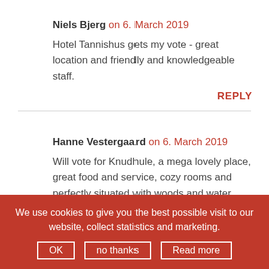Niels Bjerg on 6. March 2019
Hotel Tannishus gets my vote - great location and friendly and knowledgeable staff.
REPLY
Hanne Vestergaard on 6. March 2019
Will vote for Knudhule, a mega lovely place, great food and service, cozy rooms and perfectly situated with woods and water nearby.
We use cookies to give you the best possible visit to our website, collect statistics and marketing.
OK   no thanks   Read more